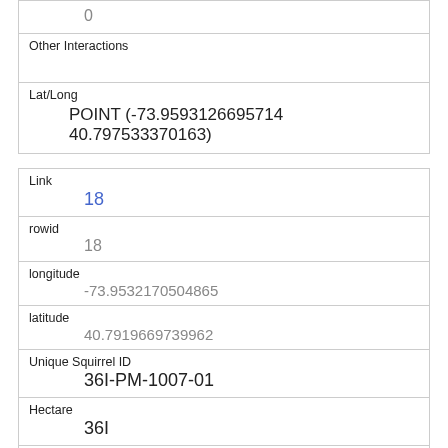| 0 |
| Other Interactions |  |
| Lat/Long | POINT (-73.9593126695714 40.797533370163) |
| Link | 18 |
| rowid | 18 |
| longitude | -73.9532170504865 |
| latitude | 40.7919669739962 |
| Unique Squirrel ID | 36I-PM-1007-01 |
| Hectare | 36I |
| Shift | PM |